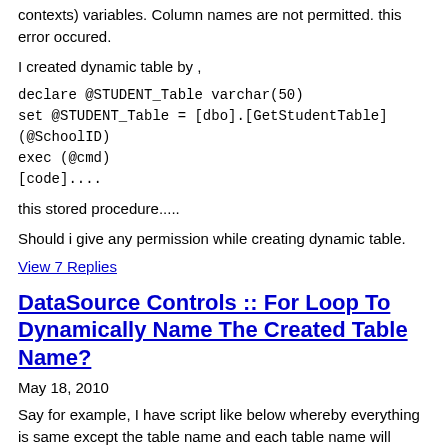contexts) variables. Column names are not permitted. this error occured.
I created dynamic table by ,
declare @STUDENT_Table varchar(50)
set @STUDENT_Table = [dbo].[GetStudentTable](@SchoolID)
exec (@cmd)
[code]....
this stored procedure.....
Should i give any permission while creating dynamic table.
View 7 Replies
DataSource Controls :: For Loop To Dynamically Name The Created Table Name?
May 18, 2010
Say for example, I have script like below whereby everything is same except the table name and each table name will append an